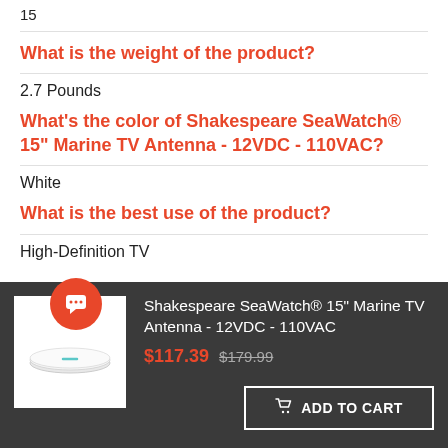15
What is the weight of the product?
2.7 Pounds
What's the color of Shakespeare SeaWatch® 15" Marine TV Antenna - 12VDC - 110VAC?
White
What is the best use of the product?
High-Definition TV
[Figure (photo): Shakespeare SeaWatch marine TV antenna product image - white flat disc antenna]
Shakespeare SeaWatch® 15" Marine TV Antenna - 12VDC - 110VAC
$117.39  $179.99
ADD TO CART